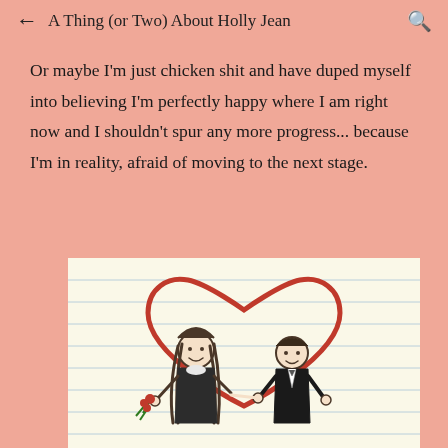← A Thing (or Two) About Holly Jean 🔍
Or maybe I'm just chicken shit and have duped myself into believing I'm perfectly happy where I am right now and I shouldn't spur any more progress... because I'm in reality, afraid of moving to the next stage.
[Figure (illustration): Child-like crayon drawing on lined paper showing a girl with long dark hair holding red flowers and a boy in a dark suit, both smiling, with a large red heart drawn behind them]